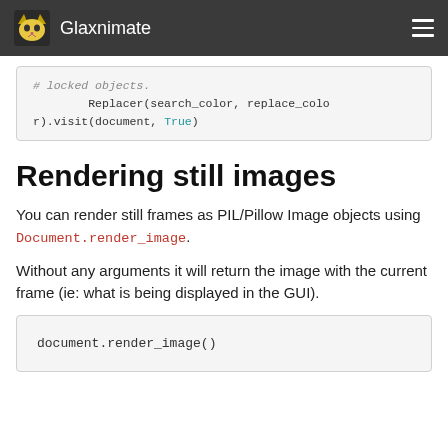Glaxnimate
# locked objects.
        Replacer(search_color, replace_color).visit(document, True)
Rendering still images
You can render still frames as PIL/Pillow Image objects using Document.render_image.
Without any arguments it will return the image with the current frame (ie: what is being displayed in the GUI).
document.render_image()